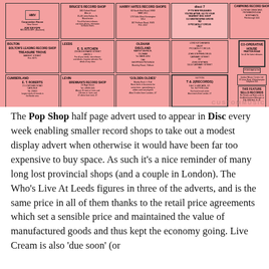[Figure (photo): A pink-background half-page advertisement grid showing various record shops including Bruce's Record Shop, Harry Hates Record Shops, Disci 7, Campkins Record Shop, Bolton's record shops, E.S. Kitchen Leeds, Discland Oldham, T&J Records Sutton, Co-operative House Portsmouth, E.T. Roberts Cumberland, Brennan's Record Shop Levin, Golden Oldies, and other ads including 'This Feature Sells Records'.]
The Pop Shop half page advert used to appear in Disc every week enabling smaller record shops to take out a modest display advert when otherwise it would have been far too expensive to buy space. As such it's a nice reminder of many long lost provincial shops (and a couple in London). The Who's Live At Leeds figures in three of the adverts, and is the same price in all of them thanks to the retail price agreements which set a sensible price and maintained the value of manufactured goods and thus kept the economy going. Live Cream is also 'due soon' (or